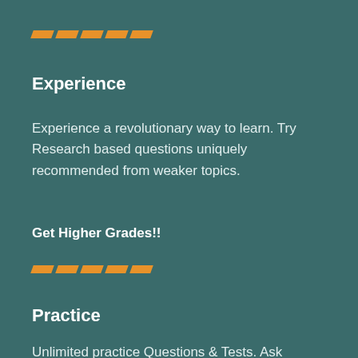[Figure (illustration): Orange diagonal dashes/stripes decorative element]
Experience
Experience a revolutionary way to learn. Try Research based questions uniquely recommended from weaker topics.
Get Higher Grades!!
[Figure (illustration): Orange diagonal dashes/stripes decorative element]
Practice
Unlimited practice Questions & Tests. Ask unlimited question-specific doubts and get instant answers from experts.
Grab the opportunity!!